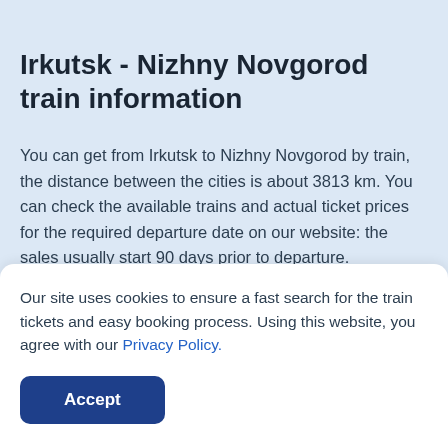Irkutsk - Nizhny Novgorod train information
You can get from Irkutsk to Nizhny Novgorod by train, the distance between the cities is about 3813 km. You can check the available trains and actual ticket prices for the required departure date on our website: the sales usually start 90 days prior to departure.
Our site uses cookies to ensure a fast search for the train tickets and easy booking process. Using this website, you agree with our Privacy Policy.